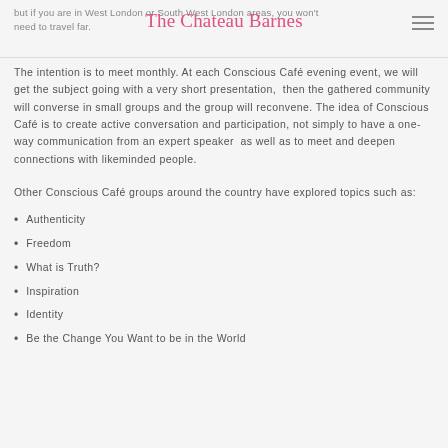but if you are in West London or South West London areas, you won't need to travel far. The Chateau Barnes
The intention is to meet monthly. At each Conscious Café evening event, we will get the subject going with a very short presentation, then the gathered community will converse in small groups and the group will reconvene. The idea of Conscious Café is to create active conversation and participation, not simply to have a one-way communication from an expert speaker as well as to meet and deepen connections with likeminded people.
Other Conscious Café groups around the country have explored topics such as:
Authenticity
Freedom
What is Truth?
Inspiration
Identity
Be the Change You Want to be in the World